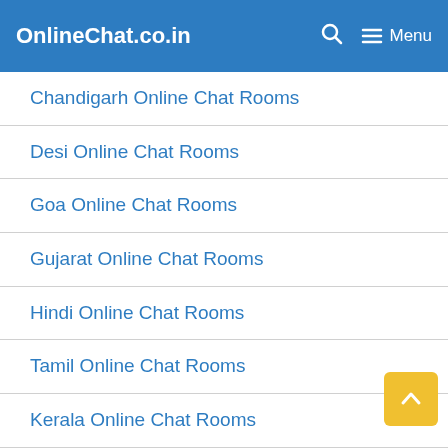OnlineChat.co.in  Menu
Chandigarh Online Chat Rooms
Desi Online Chat Rooms
Goa Online Chat Rooms
Gujarat Online Chat Rooms
Hindi Online Chat Rooms
Tamil Online Chat Rooms
Kerala Online Chat Rooms
Punjab Online Chat Rooms
Malayalam Online Chat Rooms